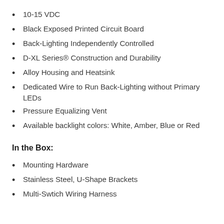10-15 VDC
Black Exposed Printed Circuit Board
Back-Lighting Independently Controlled
D-XL Series® Construction and Durability
Alloy Housing and Heatsink
Dedicated Wire to Run Back-Lighting without Primary LEDs
Pressure Equalizing Vent
Available backlight colors: White, Amber, Blue or Red
In the Box:
Mounting Hardware
Stainless Steel, U-Shape Brackets
Multi-Swtich Wiring Harness